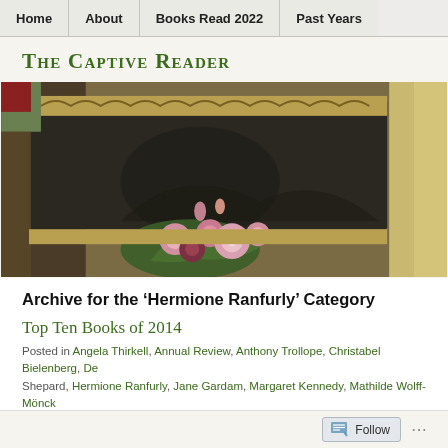Home | About | Books Read 2022 | Past Years
The Captive Reader
[Figure (photo): Painting of pink roses in a vase reflected in a mirror with ornate gilt frame, warm brownish-green tones]
Archive for the ‘Hermione Ranfurly’ Category
Top Ten Books of 2014
Posted in Angela Thirkell, Annual Review, Anthony Trollope, Christabel Bielenberg, De Shepard, Hermione Ranfurly, Jane Gardam, Margaret Kennedy, Mathilde Wolff-Mönck